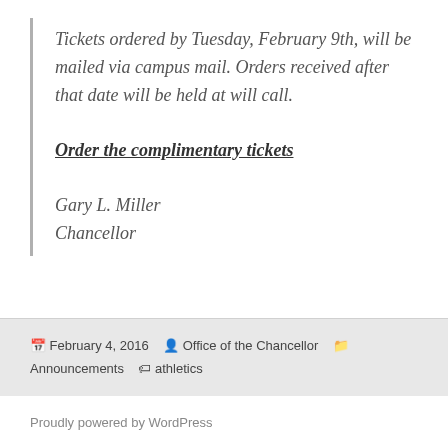Tickets ordered by Tuesday, February 9th, will be mailed via campus mail. Orders received after that date will be held at will call.
Order the complimentary tickets
Gary L. Miller
Chancellor
February 4, 2016  Office of the Chancellor  Announcements  athletics
Proudly powered by WordPress